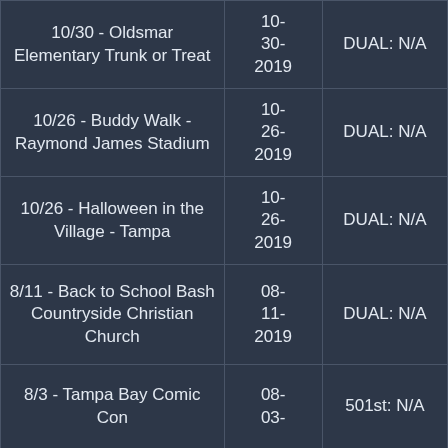| Event | Date | Type |
| --- | --- | --- |
| 10/30 - Oldsmar Elementary Trunk or Treat | 10-30-2019 | DUAL: N/A |
| 10/26 - Buddy Walk - Raymond James Stadium | 10-26-2019 | DUAL: N/A |
| 10/26 - Halloween in the Village - Tampa | 10-26-2019 | DUAL: N/A |
| 8/11 - Back to School Bash Countryside Christian Church | 08-11-2019 | DUAL: N/A |
| 8/3 - Tampa Bay Comic Con | 08-03- | 501st: N/A |